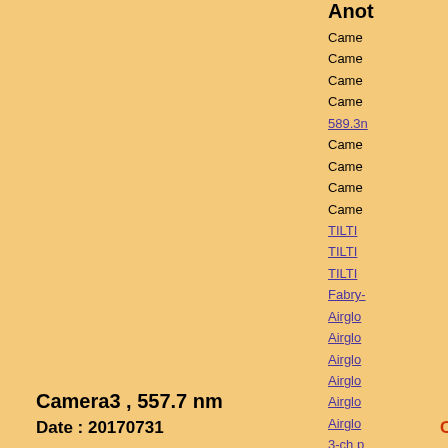Anot
Came
Came
Came
Came 589.3n
Came
Came
Came
Came
TILTI
TILTI
TILTI
Fabry-
Airglo
Airglo
Airglo
Airglo
Airglo
Airglo
3-ch p
3-ch p
Camera3 , 557.7 nm
Date : 20170731
Click figure to enlarge